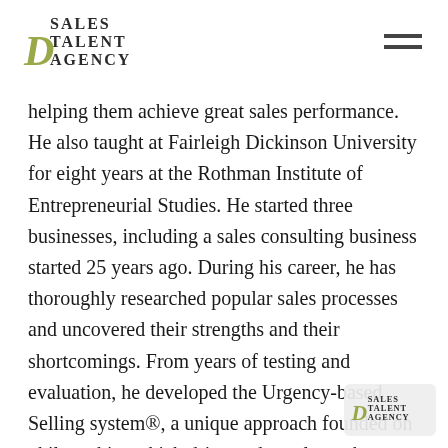Sales Talent Agency [logo] [hamburger menu]
helping them achieve great sales performance. He also taught at Fairleigh Dickinson University for eight years at the Rothman Institute of Entrepreneurial Studies. He started three businesses, including a sales consulting business started 25 years ago. During his career, he has thoroughly researched popular sales processes and uncovered their strengths and their shortcomings. From years of testing and evaluation, he developed the Urgency-based Selling system®, a unique approach founded on philosophies which drive and accelerate human behavior. He contributes original content regularly to forbes.com and is the author of a forthcoming book